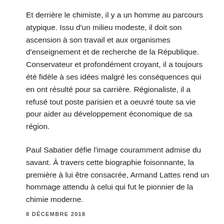Et derrière le chimiste, il y a un homme au parcours atypique. Issu d'un milieu modeste, il doit son ascension à son travail et aux organismes d'enseignement et de recherche de la République. Conservateur et profondément croyant, il a toujours été fidèle à ses idées malgré les conséquences qui en ont résulté pour sa carrière. Régionaliste, il a refusé tout poste parisien et a oeuvré toute sa vie pour aider au développement économique de sa région.
Paul Sabatier défie l'image couramment admise du savant. À travers cette biographie foisonnante, la première à lui être consacrée, Armand Lattes rend un hommage attendu à celui qui fut le pionnier de la chimie moderne.
8 DÉCEMBRE 2018